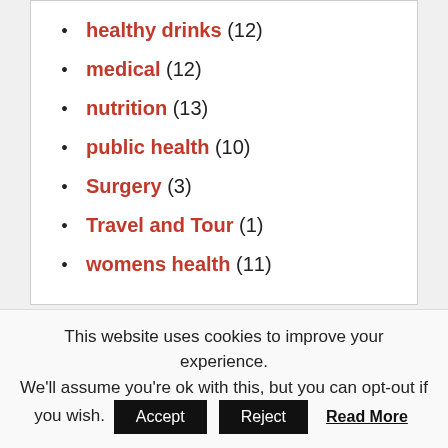healthy drinks (12)
medical (12)
nutrition (13)
public health (10)
Surgery (3)
Travel and Tour (1)
womens health (11)
ABOUT US
This website uses cookies to improve your experience. We'll assume you're ok with this, but you can opt-out if you wish. Accept Reject Read More